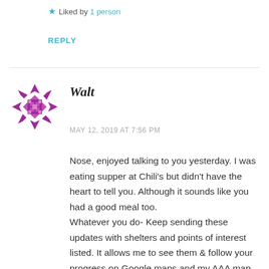Liked by 1 person
REPLY
[Figure (illustration): Purple geometric quilt-pattern avatar icon for user Walt]
Walt
MAY 12, 2019 AT 7:56 PM
Nose, enjoyed talking to you yesterday. I was eating supper at Chili's but didn't have the heart to tell you. Although it sounds like you had a good meal too.
Whatever you do- Keep sending these updates with shelters and points of interest listed. It allows me to see them & follow your progress on Google maps and my AAA map of Virginia. Go in that region has been in my interest and it